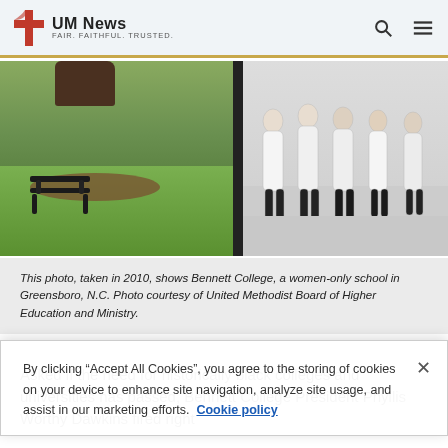UM News FAIR. FAITHFUL. TRUSTED.
[Figure (photo): Photo of Bennett College campus in 2010 showing a park bench near a tree on a grassy lawn on the left side, and a group of women in white dresses walking on a sidewalk on the right side, separated by a dark pole.]
This photo, taken in 2010, shows Bennett College, a women-only school in Greensboro, N.C. Photo courtesy of United Methodist Board of Higher Education and Ministry.
Asked if the need for historically black colleges and universities has passed, Bennett College President Phyllis Worthy Dawkins fired right
By clicking “Accept All Cookies”, you agree to the storing of cookies on your device to enhance site navigation, analyze site usage, and assist in our marketing efforts. Cookie policy